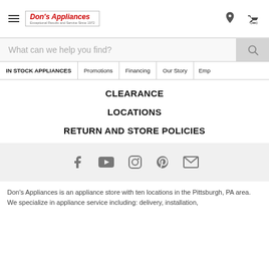Don's Appliances — navigation header with hamburger menu, logo, location icon, and cart icon
What can we help you find?
IN STOCK APPLIANCES | Promotions | Financing | Our Story | Emp...
CLEARANCE
LOCATIONS
RETURN AND STORE POLICIES
[Figure (infographic): Social media icons: Facebook, YouTube, Instagram, Pinterest, Email]
Don's Appliances is an appliance store with ten locations in the Pittsburgh, PA area. We specialize in appliance service including: delivery, installation,